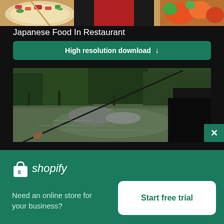[Figure (photo): Top portion of a Japanese food restaurant photo showing dishes with vegetables]
Japanese Food In Restaurant
High resolution download ↓
[Figure (photo): Person holding a fishing rod near a green, reflective pond or river]
[Figure (logo): Shopify logo with shopping bag icon and italic shopify text]
Need an online store for your business?
Start free trial